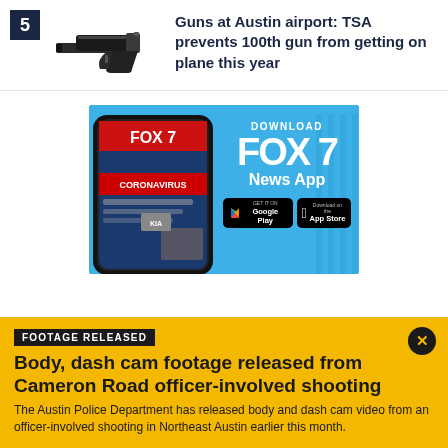5 Guns at Austin airport: TSA prevents 100th gun from getting on plane this year
[Figure (infographic): Download FOX 7 News App advertisement showing a smartphone with the FOX 7 app and Google Play / App Store download buttons on a blue background]
FOOTAGE RELEASED
Body, dash cam footage released from Cameron Road officer-involved shooting
The Austin Police Department has released body and dash cam video from an officer-involved shooting in Northeast Austin earlier this month.